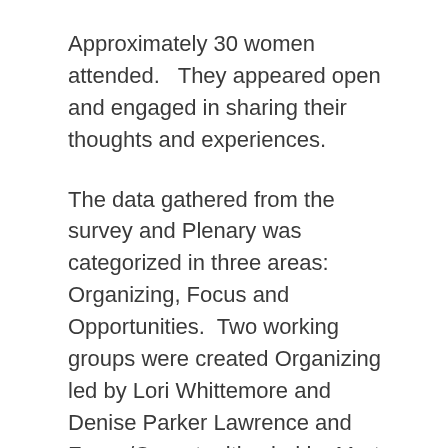Approximately 30 women attended.   They appeared open and engaged in sharing their thoughts and experiences.
The data gathered from the survey and Plenary was categorized in three areas: Organizing, Focus and Opportunities.  Two working groups were created Organizing led by Lori Whittemore and Denise Parker Lawrence and Focus/Opportunities led by Marta Gordon Dufis and Elaine Barry.
Through Zoom meetings we established our mission statement: